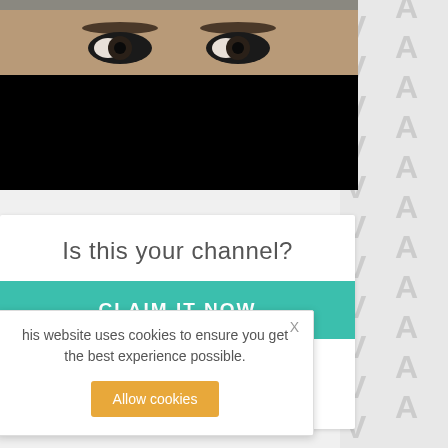[Figure (photo): Close-up photo of a person's eyes and forehead, with white/blonde hair, followed by a black lower portion (video player or cropped image)]
Is this your channel?
CLAIM IT NOW
Why should I claim my channel?
About This Creator
his website uses cookies to ensure you get the best experience possible.
Allow cookies
rofile viewed 4 times since October 10 2017.